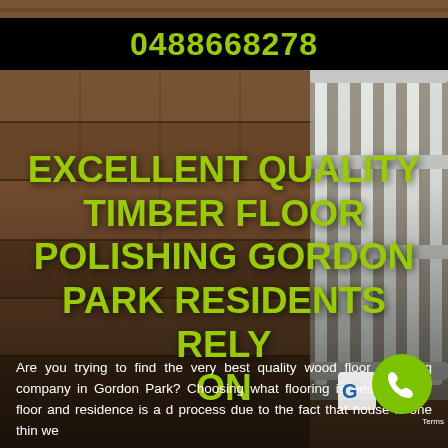[Figure (photo): Background photo of polished timber/wood floor with white fence or crib on the right side, warm brown tones]
0488668278
EXCELLENT QUALITY TIMBER FLOOR POLISHING GORDON PARK RESIDENTS RELY ON
Are you trying to find the very best quality wood floor polishing company in Gordon Park? Choosing what flooring is best for your floor and residence is a d process due to the fact that house is one thin we